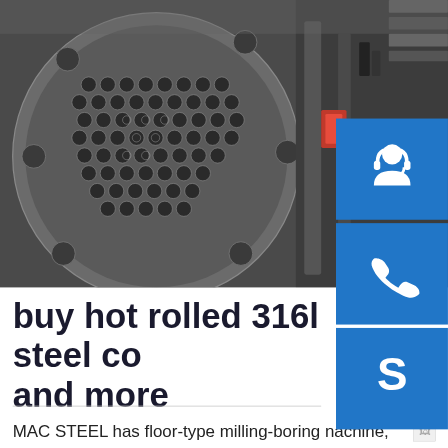[Figure (photo): Close-up industrial photo of a metal tube sheet or heat exchanger face with many circular tube openings arranged in a grid pattern, plus industrial machinery components visible in the background.]
buy hot rolled 316l steel co and more
MAC STEEL has floor-type milling-boring nachine, portal-type processing center, vertical lathe, deep-hole drilling machine, nulti-drilling machine and planer, which are multi-standard, high-precision and multi-function. MAC STEEL has a wealth of machining experience and cases, such as the processing of tube sheets, food